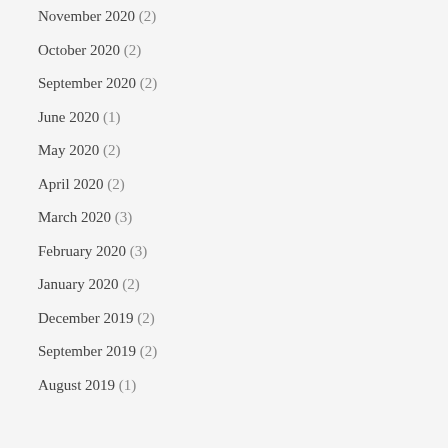November 2020 (2)
October 2020 (2)
September 2020 (2)
June 2020 (1)
May 2020 (2)
April 2020 (2)
March 2020 (3)
February 2020 (3)
January 2020 (2)
December 2019 (2)
September 2019 (2)
August 2019 (1)